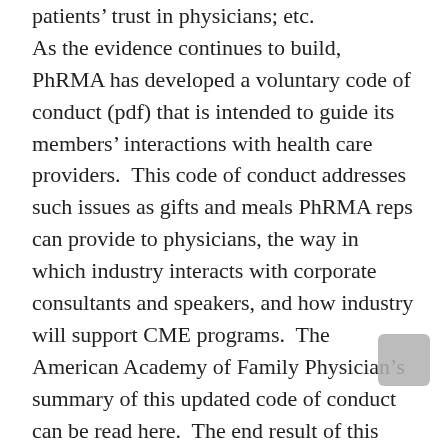patients' trust in physicians; etc. As the evidence continues to build, PhRMA has developed a voluntary code of conduct (pdf) that is intended to guide its members' interactions with health care providers.  This code of conduct addresses such issues as gifts and meals PhRMA reps can provide to physicians, the way in which industry interacts with corporate consultants and speakers, and how industry will support CME programs.  The American Academy of Family Physician's summary of this updated code of conduct can be read here.  The end result of this update appears to limit the risk of bias and influence as industry sales reps interact with health care providers. In response, it appears that PhRMA and medical device companies are starting to look elsewhere